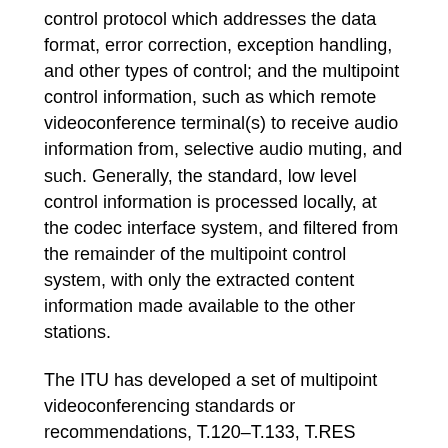control protocol which addresses the data format, error correction, exception handling, and other types of control; and the multipoint control information, such as which remote videoconference terminal(s) to receive audio information from, selective audio muting, and such. Generally, the standard, low level control information is processed locally, at the codec interface system, and filtered from the remainder of the multipoint control system, with only the extracted content information made available to the other stations.
The ITU has developed a set of multipoint videoconferencing standards or recommendations, T.120–T.133, T.RES series, H.231, H.243, etc. These define control schemes for multiple party video conferences. Typically, these protocols are implemented in systems which either identically replicate the source image data stream from one source to a plurality of destinations, or completely decode and reencode the image in a different format in a "transcoder" arrangement, to accommodate incompatible conference stations. The ITU standards also allow optional data fields which may be used to communicate digital information essentially outside the videoconference